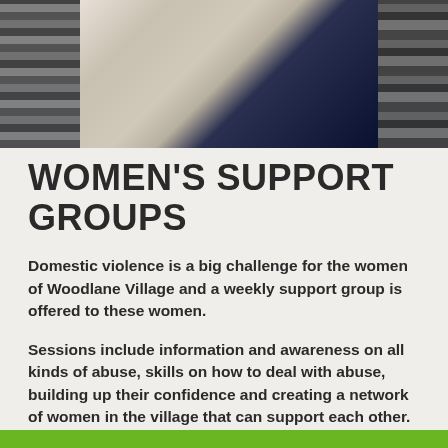[Figure (photo): Photograph of women, cropped showing torsos with striped clothing on the left and right sides and blue/white clothing in the center]
WOMEN'S SUPPORT GROUPS
Domestic violence is a big challenge for the women of Woodlane Village and a weekly support group is offered to these women.
Sessions include information and awareness on all kinds of abuse, skills on how to deal with abuse, building up their confidence and creating a network of women in the village that can support each other.
A support group for new mothers are also presented including baby massage and many practical help with their role as mothers.